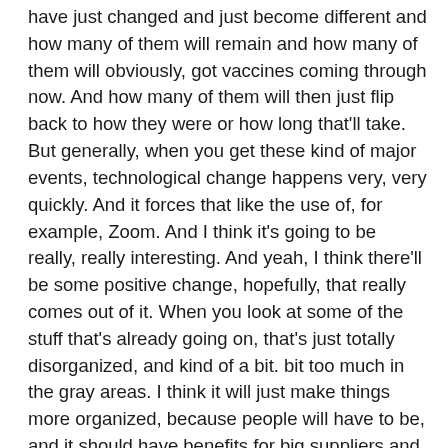have just changed and just become different and how many of them will remain and how many of them will obviously, got vaccines coming through now. And how many of them will then just flip back to how they were or how long that'll take. But generally, when you get these kind of major events, technological change happens very, very quickly. And it forces that like the use of, for example, Zoom. And I think it's going to be really, really interesting. And yeah, I think there'll be some positive change, hopefully, that really comes out of it. When you look at some of the stuff that's already going on, that's just totally disorganized, and kind of a bit. bit too much in the gray areas. I think it will just make things more organized, because people will have to be, and it should have benefits for big suppliers and small suppliers. And for organizations, it just means everybody has to do everything properly, also a much greater degree. And yeah, certainly going to be interesting. And any further thoughts in terms of what you're expecting for 2021?